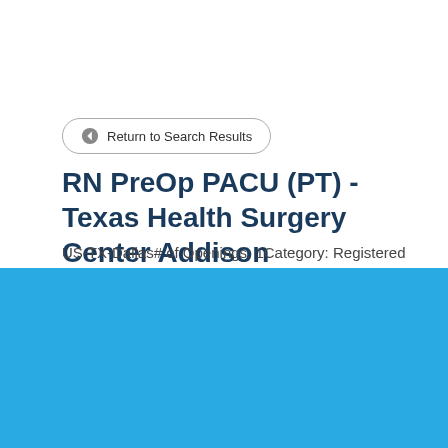← Return to Search Results
RN PreOp PACU (PT) - Texas Health Surgery Center Addison
US-TX-Dallas# of Openings: 1Category: Registered
Cookie Settings  Got it
We use cookies so that we can remember you and understand how you use our site. If you do not agree with our use of cookies, please change the current settings found in our Cookie Policy. Otherwise, you agree to the use of the cookies as they are currently set.